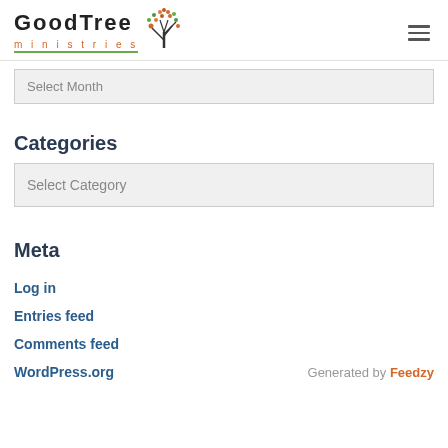GoodTree ministries
Select Month
Categories
Select Category
Meta
Log in
Entries feed
Comments feed
WordPress.org
Generated by Feedzy